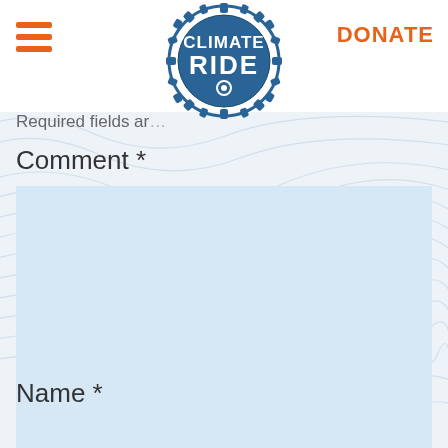[Figure (logo): Climate Ride logo - circular gear with bicycle sprocket design containing 'CLIMATE RIDE' text in blue]
DONATE
Required fields ar…
Comment *
[Figure (screenshot): Large empty comment text area input field with light blue background and dark blue bottom border, with resize handle]
Name *
[Figure (screenshot): Name text input field with light blue background, partially visible at bottom of page]